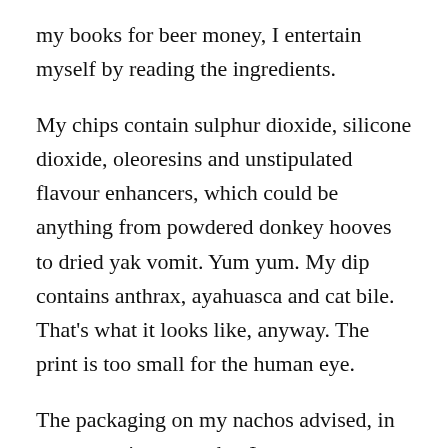my books for beer money, I entertain myself by reading the ingredients.
My chips contain sulphur dioxide, silicone dioxide, oleoresins and unstipulated flavour enhancers, which could be anything from powdered donkey hooves to dried yak vomit. Yum yum. My dip contains anthrax, ayahuasca and cat bile. That’s what it looks like, anyway. The print is too small for the human eye.
The packaging on my nachos advised, in no uncertain terms, that I was to use immediately once opened. The instruction jarred with the mellow vibe the chips had going. I felt pressured. Emptying the dip into the packet, I